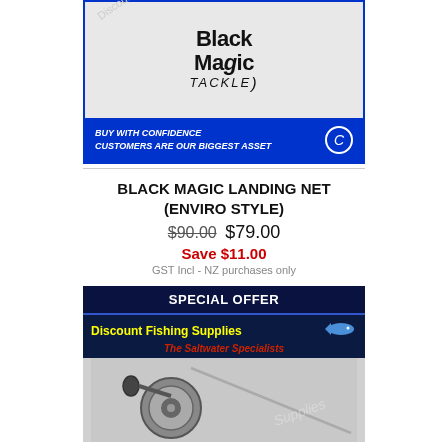[Figure (photo): Black Magic Tackle product image showing a landing net and pole with Black Magic Tackle logo and a blue banner reading 'BUY WITH CONFIDENCE CUSTOMERS ARE OUR BIGGEST ASSET']
BLACK MAGIC LANDING NET (ENVIRO STYLE)
$90.00 $79.00
Save $11.00
GST Incl - NZ purchases only
[Figure (photo): Discount Fishing Supplies product listing with 'SPECIAL OFFER' header banner, Discount Fishing Supplies logo (The Saltwater Specialists), and image of a fishing reel]